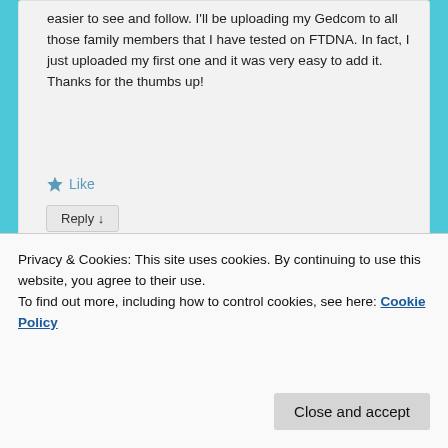easier to see and follow. I'll be uploading my Gedcom to all those family members that I have tested on FTDNA. In fact, I just uploaded my first one and it was very easy to add it. Thanks for the thumbs up!
★ Like
Reply ↓
[Figure (illustration): A geometric avatar/profile icon with blue and white diamond and triangle patterns arranged in a square grid.]
difficulty and present a possible solution and why
Privacy & Cookies: This site uses cookies. By continuing to use this website, you agree to their use.
To find out more, including how to control cookies, see here: Cookie Policy
Close and accept